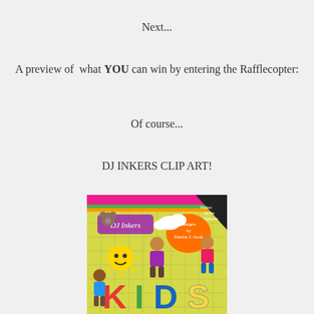Next...
A preview of  what YOU can win by entering the Rafflecopter:
Of course...
DJ INKERS CLIP ART!
[Figure (illustration): DJ Inkers 'Kids All Year' clip art book cover featuring colorful cartoon children, a smiling sun, and large colorful letters spelling KIDS ALL YEAR on a yellow plaid background]